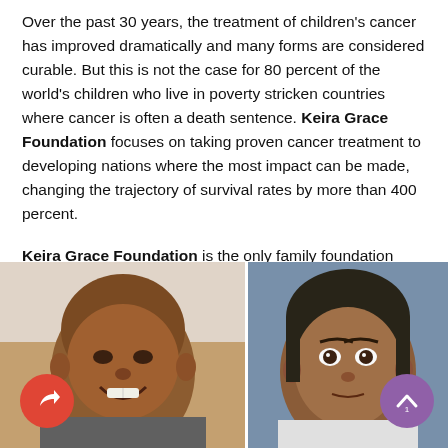Over the past 30 years, the treatment of children's cancer has improved dramatically and many forms are considered curable. But this is not the case for 80 percent of the world's children who live in poverty stricken countries where cancer is often a death sentence. Keira Grace Foundation focuses on taking proven cancer treatment to developing nations where the most impact can be made, changing the trajectory of survival rates by more than 400 percent.
Keira Grace Foundation is the only family foundation bringing cancer treatment to developing nations.
[Figure (photo): Two photographs of children side by side at the bottom of the page. Left photo shows a bald child (likely undergoing cancer treatment) smiling. Right photo shows another child looking at the camera. Two circular buttons overlay the photos: a red share button on the left and a purple scroll-up button on the right.]